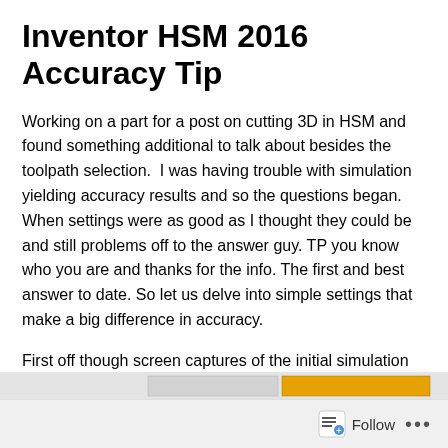Inventor HSM 2016 Accuracy Tip
Working on a part for a post on cutting 3D in HSM and found something additional to talk about besides the toolpath selection.  I was having trouble with simulation yielding accuracy results and so the questions began. When settings were as good as I thought they could be and still problems off to the answer guy. TP you know who you are and thanks for the info. The first and best answer to date. So let us delve into simple settings that make a big difference in accuracy.
First off though screen captures of the initial simulation that had me concerned.
[Figure (screenshot): Partial screenshot of a simulation interface showing a toolbar area]
Follow